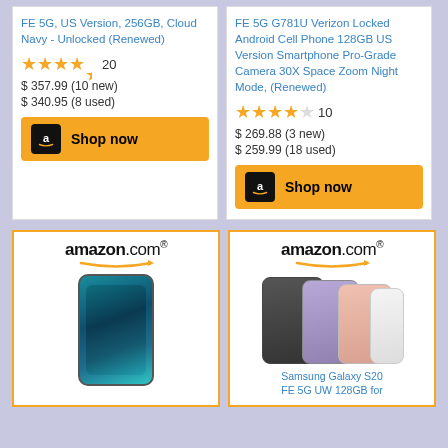FE 5G, US Version, 256GB, Cloud Navy - Unlocked (Renewed)
★★★★½ 20
$ 357.99 (10 new)
$ 340.95 (8 used)
Shop now
FE 5G G781U Verizon Locked Android Cell Phone 128GB US Version Smartphone Pro-Grade Camera 30X Space Zoom Night Mode, (Renewed)
★★★★☆ 10
$ 269.88 (3 new)
$ 259.99 (18 used)
Shop now
[Figure (screenshot): Amazon.com logo with arrow and Samsung Galaxy S20 FE phone product image]
[Figure (screenshot): Amazon.com logo with arrow and Samsung Galaxy S20 FE 5G UW 128GB multiple color variants product image]
Samsung Galaxy S20 FE 5G UW 128GB for